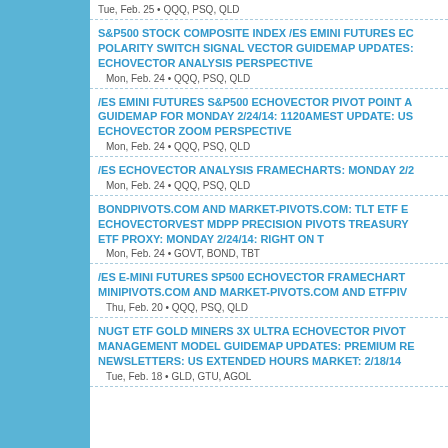Tue, Feb. 25 • QQQ, PSQ, QLD
S&P500 STOCK COMPOSITE INDEX /ES EMINI FUTURES EC POLARITY SWITCH SIGNAL VECTOR GUIDEMAP UPDATES: ECHOVECTOR ANALYSIS PERSPECTIVE
Mon, Feb. 24 • QQQ, PSQ, QLD
/ES EMINI FUTURES S&P500 ECHOVECTOR PIVOT POINT A GUIDEMAP FOR MONDAY 2/24/14: 1120AMEST UPDATE: US ECHOVECTOR ZOOM PERSPECTIVE
Mon, Feb. 24 • QQQ, PSQ, QLD
/ES ECHOVECTOR ANALYSIS FRAMECHARTS: MONDAY 2/2
Mon, Feb. 24 • QQQ, PSQ, QLD
BONDPIVOTS.COM AND MARKET-PIVOTS.COM: TLT ETF E ECHOVECTORVEST MDPP PRECISION PIVOTS TREASURY ETF PROXY: MONDAY 2/24/14: RIGHT ON T
Mon, Feb. 24 • GOVT, BOND, TBT
/ES E-MINI FUTURES SP500 ECHOVECTOR FRAMECHART MINIPIVOTS.COM AND MARKET-PIVOTS.COM AND ETFPIV
Thu, Feb. 20 • QQQ, PSQ, QLD
NUGT ETF GOLD MINERS 3X ULTRA ECHOVECTOR PIVOT MANAGEMENT MODEL GUIDEMAP UPDATES: PREMIUM RE NEWSLETTERS: US EXTENDED HOURS MARKET: 2/18/14
Tue, Feb. 18 • GLD, GTU, AGOL